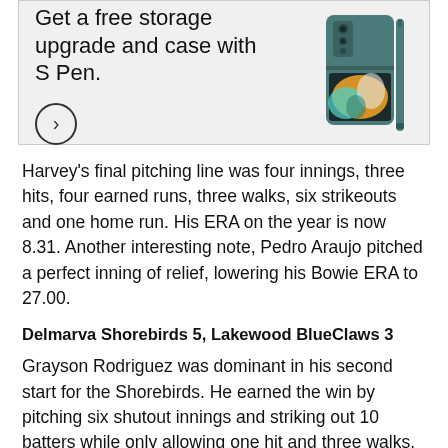[Figure (advertisement): Samsung Galaxy Z Fold advertisement showing a teal/slate colored foldable phone with S Pen. Text reads 'Get a free storage upgrade and case with S Pen.' with a circular arrow button.]
Harvey's final pitching line was four innings, three hits, four earned runs, three walks, six strikeouts and one home run. His ERA on the year is now 8.31. Another interesting note, Pedro Araujo pitched a perfect inning of relief, lowering his Bowie ERA to 27.00.
Delmarva Shorebirds 5, Lakewood BlueClaws 3
Grayson Rodriguez was dominant in his second start for the Shorebirds. He earned the win by pitching six shutout innings and striking out 10 batters while only allowing one hit and three walks. He has yet to allow a